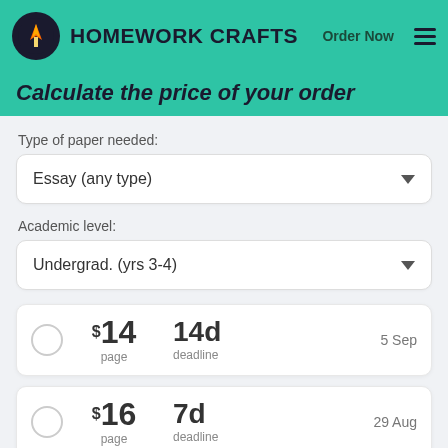HOMEWORK CRAFTS  Order Now
Calculate the price of your order
Type of paper needed:
Essay (any type)
Academic level:
Undergrad. (yrs 3-4)
$14 page  14d deadline  5 Sep
$16 page  7d deadline  29 Aug
[Figure (screenshot): Partially visible pricing card at bottom of page]